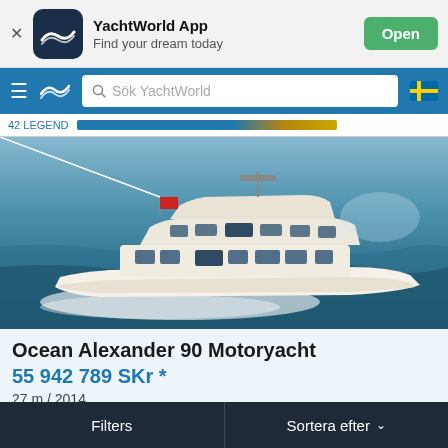[Figure (screenshot): YachtWorld App banner with logo, title, subtitle and Open button]
Sök YachtWorld
42 LEGEND
[Figure (photo): Ocean Alexander 90 Motoryacht cruising on open water, white hull, multiple decks]
Ocean Alexander 90 Motoryacht
55 942 789 SKr *
27 m / 2014
Filters   Sortera efter